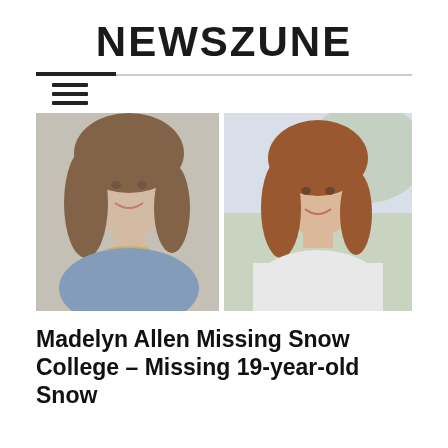NEWSZUNE
[Figure (photo): Two side-by-side photos of a young woman with curly auburn/brown hair smiling. Left photo shows her in a blue top with a gold necklace against a light background. Right photo shows her in a white jacket outdoors.]
Madelyn Allen Missing Snow College – Missing 19-year-old Snow